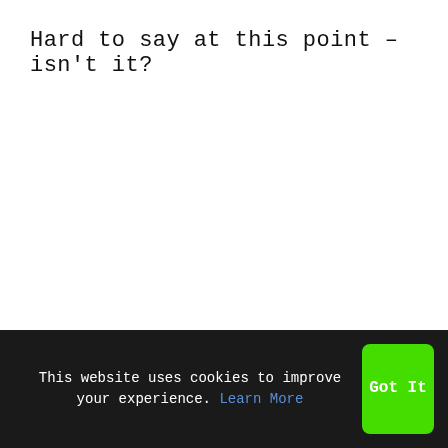Hard to say at this point – isn't it?
This website uses cookies to improve your experience. Learn More